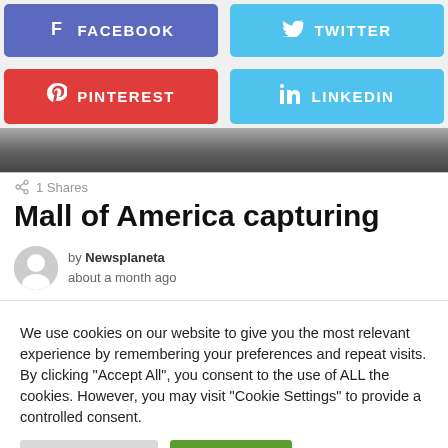[Figure (infographic): Social media sharing buttons: Facebook (blue-purple), Twitter (light blue), Pinterest (red), LinkedIn (light blue) arranged in a 2x2 grid]
[Figure (photo): Dark partial image strip showing indoor scene]
1 Shares
Mall of America capturing
by Newsplaneta about a month ago
We use cookies on our website to give you the most relevant experience by remembering your preferences and repeat visits. By clicking "Accept All", you consent to the use of ALL the cookies. However, you may visit "Cookie Settings" to provide a controlled consent.
Cookie Settings | Accept All